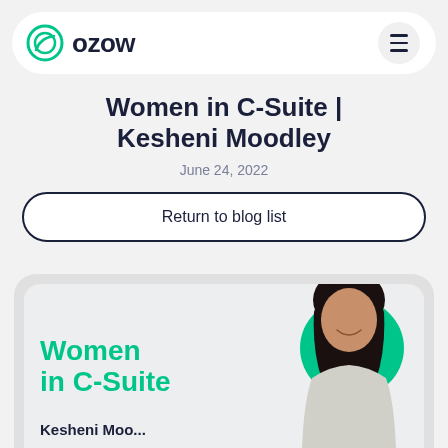OZOW
Women in C-Suite | Kesheni Moodley
June 24, 2022
Return to blog list
[Figure (photo): Promotional card with green text reading 'Women in C-Suite' on a light grey background, with a photo of Kesheni Moodley and a green decorative blob shape]